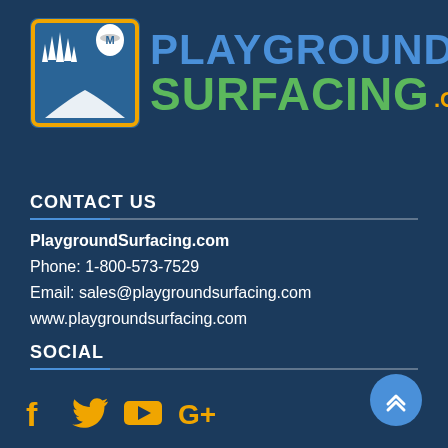[Figure (logo): PlaygroundSurfacing.com logo with icon showing grass, road, and rubber crumb bag, and text 'PLAYGROUND SURFACING .com']
CONTACT US
PlaygroundSurfacing.com
Phone: 1-800-573-7529
Email: sales@playgroundsurfacing.com
www.playgroundsurfacing.com
SOCIAL
[Figure (illustration): Social media icons: Facebook, Twitter, YouTube, Google+]